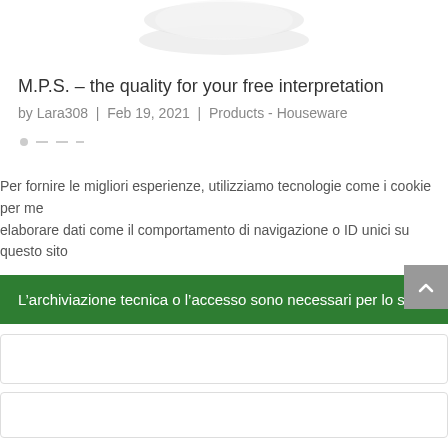[Figure (photo): Partial product image at top of page, cropped]
M.P.S. – the quality for your free interpretation
by Lara308 | Feb 19, 2021 | Products - Houseware
[Figure (other): Star rating dots/dashes]
Per fornire le migliori esperienze, utilizziamo tecnologie come i cookie per me elaborare dati come il comportamento di navigazione o ID unici su questo sito
L'archiviazione tecnica o l'accesso sono necessari per lo scop